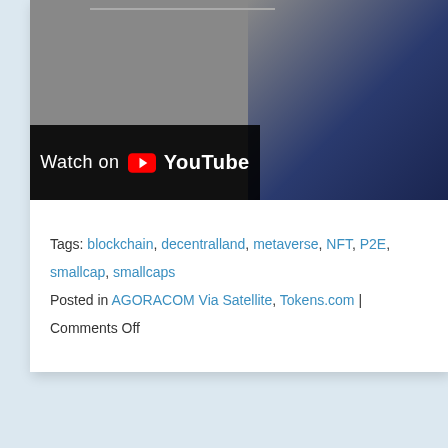[Figure (screenshot): YouTube video embed showing 'Watch on YouTube' overlay button on a dark background with gray and navy blue sections visible]
Tags: blockchain, decentralland, metaverse, NFT, P2E, smallcap, smallcaps
Posted in AGORACOM Via Satellite, Tokens.com | Comments Off